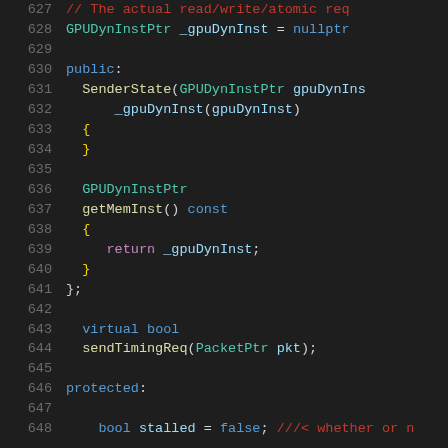[Figure (screenshot): Source code listing lines 627-648 in a dark-theme code editor showing C++ class definition with syntax highlighting. Lines show GPUDynInstPtr member variable, public constructor SenderState, getMemInst() method, virtual bool sendTimingReq, and protected section.]